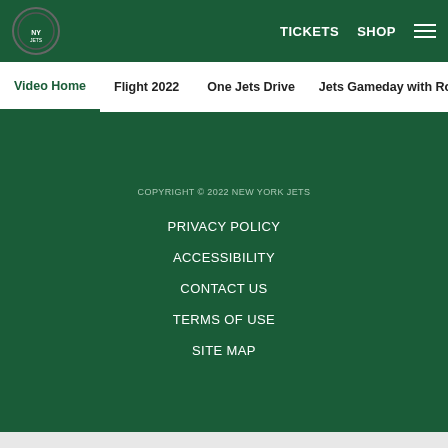TICKETS  SHOP  [menu]
Video Home
Flight 2022
One Jets Drive
Jets Gameday with Ro
COPYRIGHT © 2022 NEW YORK JETS
PRIVACY POLICY
ACCESSIBILITY
CONTACT US
TERMS OF USE
SITE MAP